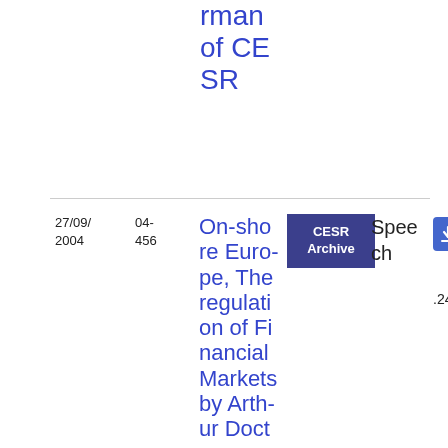rman of CESR
| Date | Ref | Title | Source | Type | Format |
| --- | --- | --- | --- | --- | --- |
| 27/09/2004 | 04-456 | On-shore Europe, The regulation of Financial Markets by Arthur Doct... | CESR Archive | Speech | PDF 92.24 KB |